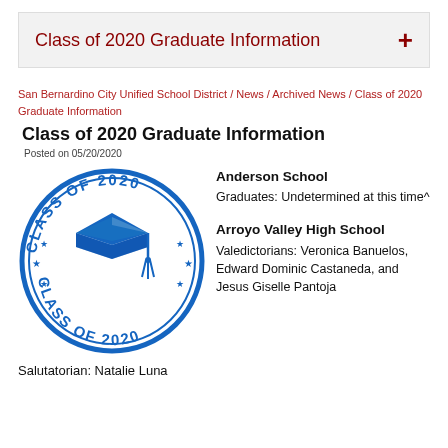Class of 2020 Graduate Information
San Bernardino City Unified School District / News / Archived News / Class of 2020 Graduate Information
Class of 2020 Graduate Information
Posted on 05/20/2020
[Figure (illustration): Blue circular stamp-style graphic reading CLASS OF 2020 with a graduation cap in the center]
Anderson School
Graduates: Undetermined at this time^
Arroyo Valley High School
Valedictorians: Veronica Banuelos, Edward Dominic Castaneda, and Jesus Giselle Pantoja
Salutatorian: Natalie Luna